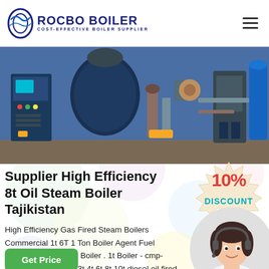ROCBO BOILER — COST-EFFECTIVE BOILER SUPPLIER
[Figure (photo): Industrial oil steam boiler equipment in a factory setting — blue boiler unit with control panel on the left, piping and fittings in the center, and additional industrial equipment on the right.]
Supplier High Efficiency 8t Oil Steam Boiler Tajikistan
[Figure (infographic): 10% DISCOUNT badge — red bold '10%' text above teal 'DISCOUNT' text on a cream/beige starburst background.]
High Efficiency Gas Fired Steam Boilers Commercial 1t 6T 1 Ton Boiler Agent Fuel Consumption Steam Boiler . 1t Boiler - cmp-h.org.uk. WNS 1t 2t 3t 4t 6t 8t 10t diesel oil fired steam boiler . smal machine for
[Figure (photo): Customer service representative — smiling woman wearing a headset, in a circular cropped photo.]
Get Price